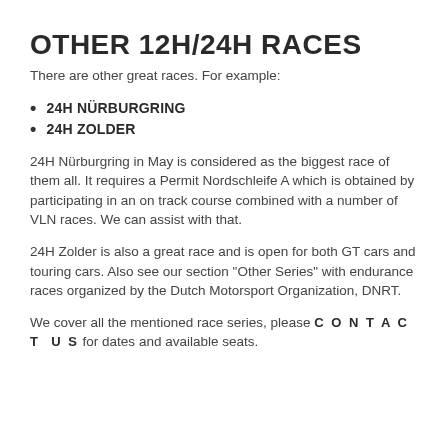OTHER 12H/24H RACES
There are other great races. For example:
24H NÜRBURGRING
24H ZOLDER
24H Nürburgring in May is considered as the biggest race of them all. It requires a Permit Nordschleife A which is obtained by participating in an on track course combined with a number of VLN races. We can assist with that.
24H Zolder is also a great race and is open for both GT cars and touring cars. Also see our section "Other Series" with endurance races organized by the Dutch Motorsport Organization, DNRT.
We cover all the mentioned race series, please CONTACT US for dates and available seats.